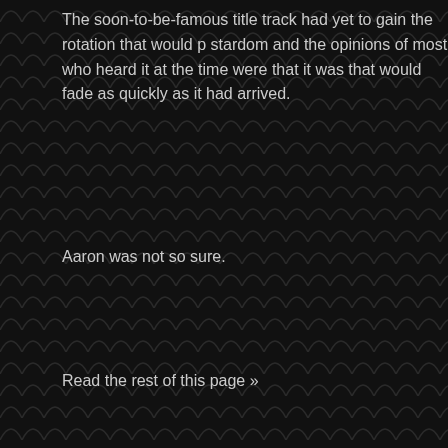The soon-to-be-famous title track had yet to gain the rotation that would p... stardom and the opinions of most who heard it at the time were that it was... that would fade as quickly as it had arrived.
Aaron was not so sure.
Read the rest of this page »
Posted in Musi
Song Of The Week: Killing Stars
November 24th, 2008 by Corey A. Edwards
[Figure (illustration): Black and white woodcut-style illustration of an owl or bird-like creature on a pale yellow background]